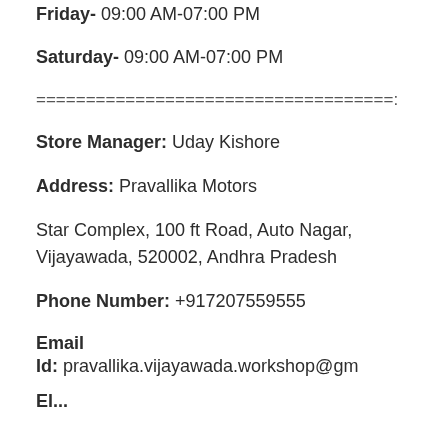Friday- 09:00 AM-07:00 PM
Saturday- 09:00 AM-07:00 PM
====================================:
Store Manager:  Uday Kishore
Address:  Pravallika Motors
Star Complex, 100 ft Road, Auto Nagar, Vijayawada, 520002, Andhra Pradesh
Phone Number:  +917207559555
Email
Id:  pravallika.vijayawada.workshop@gm
El...